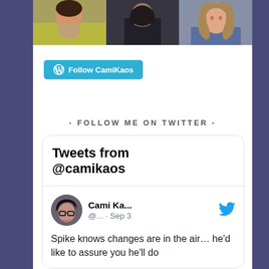[Figure (photo): Three cropped portrait photos side by side at the top of the page: a person with an animal (dog/cat) on a yellow-green background, a person in a black top, and a person with long wavy hair.]
[Figure (other): WordPress Follow button reading 'Follow CamiKaos' in white text on a teal/cyan background with WordPress logo icon.]
- FOLLOW ME ON TWITTER -
[Figure (screenshot): Embedded Twitter widget showing 'Tweets from @camikaos' header, then a tweet from Cami Ka... @... dated Sep 3 with avatar photo, Twitter bird icon, and tweet text: 'Spike knows changes are in the air... he'd like to assure you he'll do']